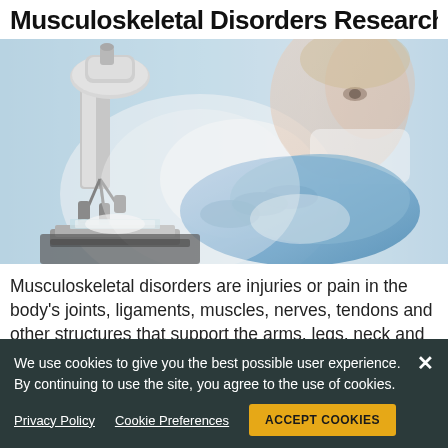Musculoskeletal Disorders Research
[Figure (photo): A scientist or researcher wearing blue gloves and a face mask, adjusting a microscope in a laboratory setting. The background is blurred with light blue tones.]
Musculoskeletal disorders are injuries or pain in the body's joints, ligaments, muscles, nerves, tendons and other structures that support the arms, legs, neck and
We use cookies to give you the best possible user experience. By continuing to use the site, you agree to the use of cookies.
Privacy Policy   Cookie Preferences   ACCEPT COOKIES